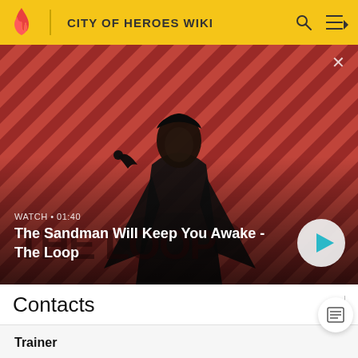CITY OF HEROES WIKI
[Figure (screenshot): Video banner showing a dark-cloaked figure with a raven on the shoulder against a red diagonal-striped background. Overlay text: WATCH • 01:40 / The Sandman Will Keep You Awake - The Loop. Play button in bottom right.]
Contacts
Trainer
Mirror Spirit
Police Band Contacts